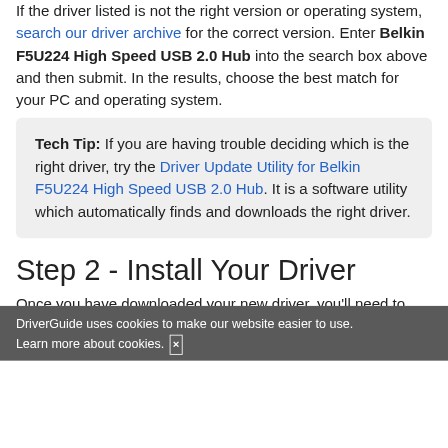If the driver listed is not the right version or operating system, search our driver archive for the correct version. Enter Belkin F5U224 High Speed USB 2.0 Hub into the search box above and then submit. In the results, choose the best match for your PC and operating system.
Tech Tip: If you are having trouble deciding which is the right driver, try the Driver Update Utility for Belkin F5U224 High Speed USB 2.0 Hub. It is a software utility which automatically finds and downloads the right driver.
Step 2 - Install Your Driver
Once you have downloaded your new driver, you'll need to install it. In Windows, use a built-in utility called Device Manager, which allows you to see all of the devices
DriverGuide uses cookies to make our website easier to use. Learn more about cookies. [x]